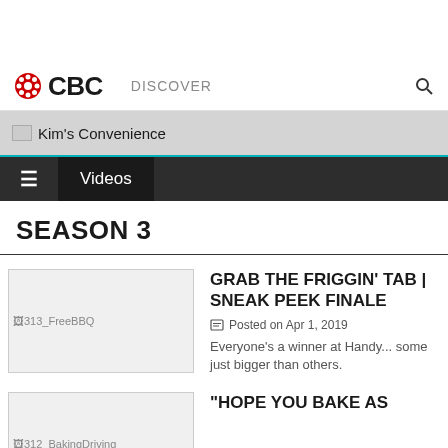CBC | DISCOVER
Kim's Convenience
Videos
SEASON 3
[Figure (screenshot): Thumbnail image placeholder for episode 313_FreeBBQ]
GRAB THE FRIGGIN' TAB | SNEAK PEEK FINALE
Posted on Apr 1, 2019
Everyone's a winner at Handy... some just bigger than others.
[Figure (screenshot): Thumbnail image placeholder for episode 312_BakingDriving]
"HOPE YOU BAKE AS